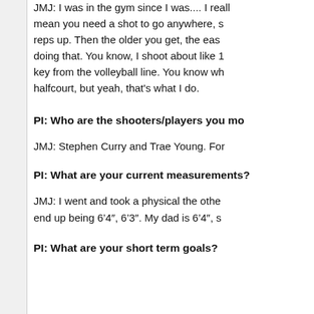JMJ: I was in the gym since I was.... I really mean you need a shot to go anywhere, so reps up. Then the older you get, the easier doing that. You know, I shoot about like 1 key from the volleyball line. You know whe halfcourt, but yeah, that's what I do.
PI: Who are the shooters/players you mo
JMJ: Stephen Curry and Trae Young. For
PI: What are your current measurements?
JMJ: I went and took a physical the other end up being 6'4", 6'3". My dad is 6'4", s
PI: What are your short term goals?